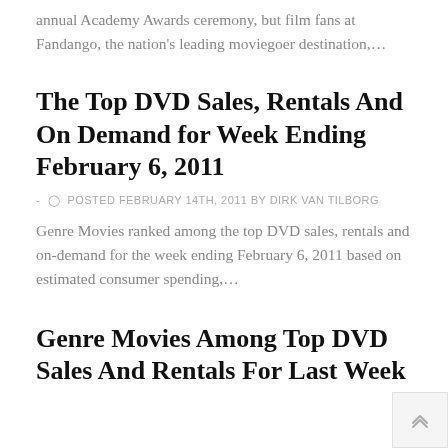annual Academy Awards ceremony, but film fans at Fandango, the nation's leading moviegoer destination,...
The Top DVD Sales, Rentals And On Demand for Week Ending February 6, 2011
- ⏱ POSTED FEBRUARY 14TH, 2011 BY DIRK VAN TILBORG
Genre Movies ranked among the top DVD sales, rentals and on-demand for the week ending February 6, 2011 based on estimated consumer spending,...
Genre Movies Among Top DVD Sales And Rentals For Last Week